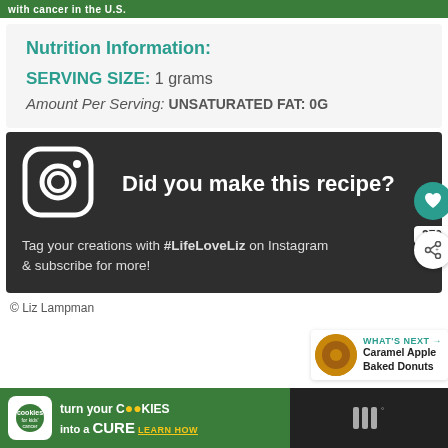with cancer in the U.S.
Nutrition Information:
SERVING SIZE: 1 grams
Amount Per Serving: UNSATURATED FAT: 0g
[Figure (infographic): Instagram promotional block: Did you make this recipe? Tag your creations with #LifeLoveLiz on Instagram & subscribe for more!]
© Liz Lampman
WHAT'S NEXT → Caramel Apple Baked Donuts
[Figure (infographic): Bottom advertisement: cookies for kids cancer - turn your cookies into a CURE LEARN HOW]